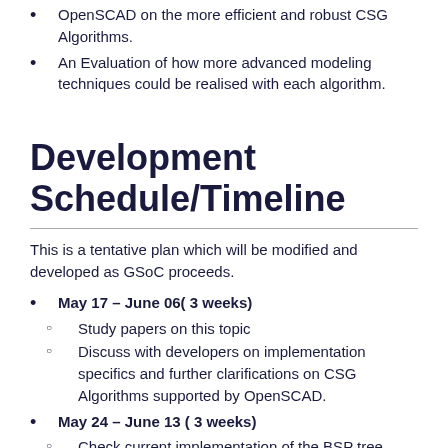OpenSCAD on the more efficient and robust CSG Algorithms.
An Evaluation of how more advanced modeling techniques could be realised with each algorithm.
Development Schedule/Timeline
This is a tentative plan which will be modified and developed as GSoC proceeds.
May 17 – June 06( 3 weeks)
Study papers on this topic
Discuss with developers on implementation specifics and further clarifications on CSG Algorithms supported by OpenSCAD.
May 24 – June 13 ( 3 weeks)
Check current implementation of the BSP tree